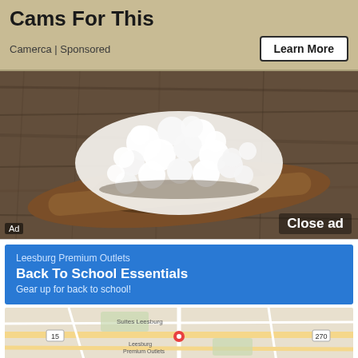Cams For This
Camerca | Sponsored
Learn More
[Figure (photo): White cottage cheese curds piled on a wooden spoon against a rustic wooden background]
Ad
Close ad
Leesburg Premium Outlets
Back To School Essentials
Gear up for back to school!
[Figure (map): Google Maps showing Leesburg Premium Outlets location]
Store info
Directions